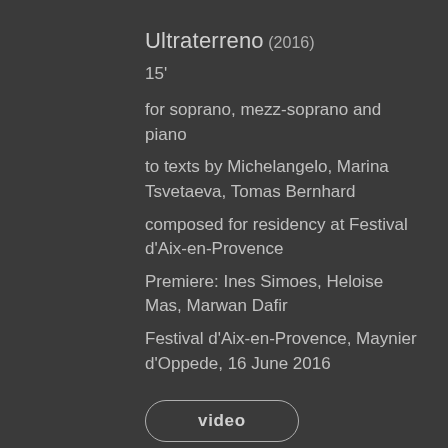Ultraterreno (2016)
15'
for soprano, mezz-soprano and piano
to texts by Michelangelo, Marina Tsvetaeva, Tomas Bernhard
composed for residency at Festival d'Aix-en-Provence
Premiere: Ines Simoes, Heloise Mas, Marwan Dafir
Festival d'Aix-en-Provence, Maynier d'Oppede, 16 June 2016
video